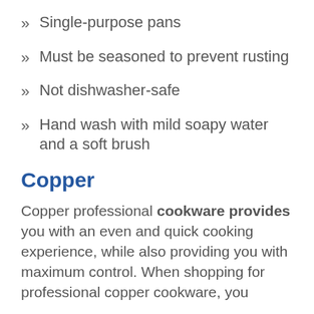» Single-purpose pans
» Must be seasoned to prevent rusting
» Not dishwasher-safe
» Hand wash with mild soapy water and a soft brush
Copper
Copper professional cookware provides you with an even and quick cooking experience, while also providing you with maximum control. When shopping for professional copper cookware, you